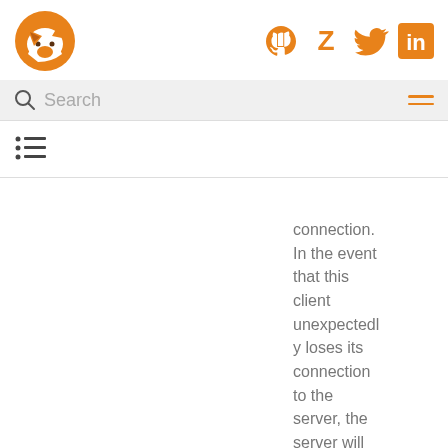[Figure (logo): Orange fox/wolf head logo]
[Figure (logo): Social media icons: GitHub, Zotero, Twitter, LinkedIn in orange]
[Figure (other): Search bar with magnifying glass icon and hamburger menu]
[Figure (other): Table of contents list icon]
connection. In the event that this client unexpectedly loses its connection to the server, the server will publish a message to